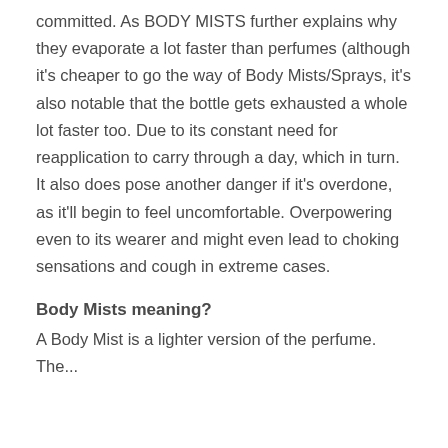committed. As BODY MISTS further explains why they evaporate a lot faster than perfumes (although it's cheaper to go the way of Body Mists/Sprays, it's also notable that the bottle gets exhausted a whole lot faster too. Due to its constant need for reapplication to carry through a day, which in turn. It also does pose another danger if it's overdone, as it'll begin to feel uncomfortable. Overpowering even to its wearer and might even lead to choking sensations and cough in extreme cases.
Body Mists meaning?
A Body Mist is a lighter version of the perfume. The...